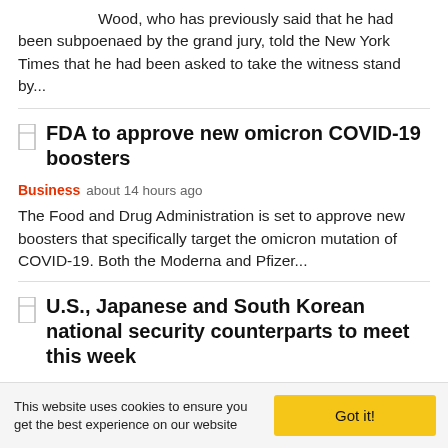Wood, who has previously said that he had been subpoenaed by the grand jury, told the New York Times that he had been asked to take the witness stand by...
FDA to approve new omicron COVID-19 boosters
Business   about 14 hours ago
The Food and Drug Administration is set to approve new boosters that specifically target the omicron mutation of COVID-19. Both the Moderna and Pfizer...
U.S., Japanese and South Korean national security counterparts to meet this week
US   about 14 hours ago
This website uses cookies to ensure you get the best experience on our website